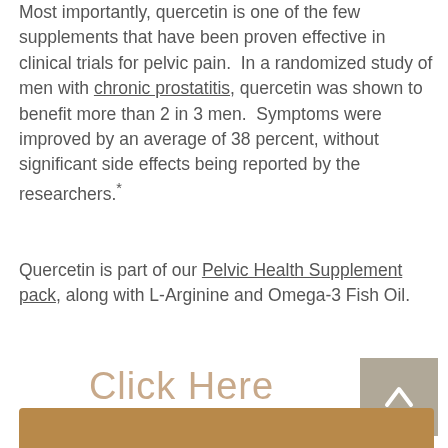Most importantly, quercetin is one of the few supplements that have been proven effective in clinical trials for pelvic pain.  In a randomized study of men with chronic prostatitis, quercetin was shown to benefit more than 2 in 3 men.  Symptoms were improved by an average of 38 percent, without significant side effects being reported by the researchers.*
Quercetin is part of our Pelvic Health Supplement pack, along with L-Arginine and Omega-3 Fish Oil.
Click Here
[Figure (other): Back-to-top button, gray square with upward arrow]
[Figure (photo): Bottom portion of an image with a tan/brown colored bar visible at the very bottom of the page]